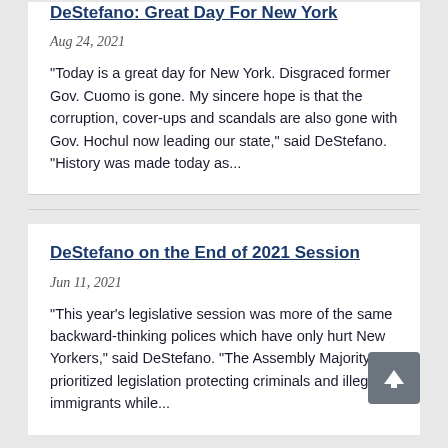DeStefano: Great Day For New York
Aug 24, 2021
"Today is a great day for New York. Disgraced former Gov. Cuomo is gone. My sincere hope is that the corruption, cover-ups and scandals are also gone with Gov. Hochul now leading our state," said DeStefano. "History was made today as...
DeStefano on the End of 2021 Session
Jun 11, 2021
"This year's legislative session was more of the same backward-thinking polices which have only hurt New Yorkers," said DeStefano. "The Assembly Majority prioritized legislation protecting criminals and illegal immigrants while...
DeStefano: Arbitrary Mask Mandates Have